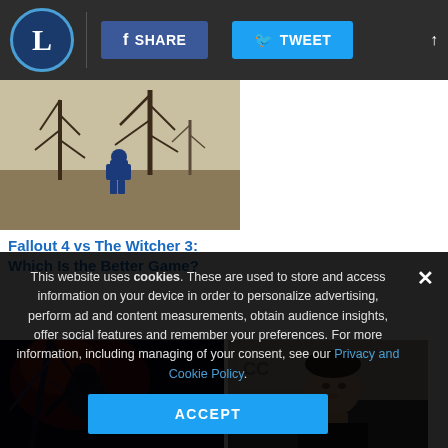L | SHARE | TWEET
[Figure (photo): Fallout 4 game screenshot showing a character in a blue vault suit standing in a barren wasteland with dead trees]
Fallout 4 vs The Witcher 3: Which Is the Better Game?
[Figure (photo): Dark fantasy game screenshot with a creature or monster in a dramatic red-sky environment]
[Figure (photo): Man in black shirt speaking at what appears to be a comic con or press event with microphones]
From developer of Assassin's Creed, a new game set in feudal Japan
This website uses cookies. These are used to store and access information on your device in order to personalize advertising, perform ad and content measurements, obtain audience insights, offer social features and remember your preferences. For more information, including managing of your consent, see our Privacy and Cookie Policy.
ACCEPT